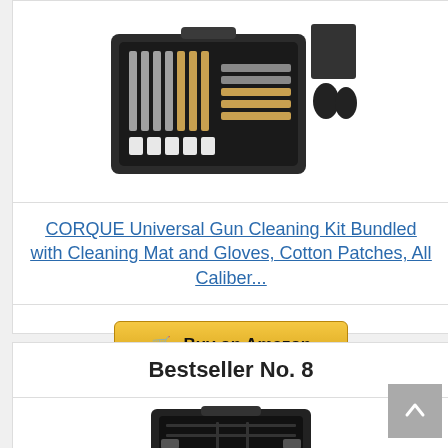[Figure (photo): Gun cleaning kit in a black plastic carrying case, with cleaning rods, brushes, patches, alongside a black cleaning mat and black gloves displayed outside the case]
CORQUE Universal Gun Cleaning Kit Bundled with Cleaning Mat and Gloves, Cotton Patches, All Caliber...
Buy on Amazon
Bestseller No. 8
[Figure (photo): Partial view of a gun cleaning kit in a black carrying case]